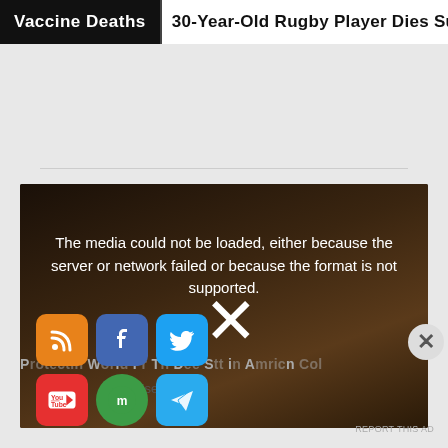Vaccine Deaths  |  30-Year-Old Rugby Player Dies Sud
[Figure (screenshot): Embedded media player showing error message: 'The media could not be loaded, either because the server or network failed or because the format is not supported.' Overlaid with social sharing icons (RSS, Facebook, Twitter, YouTube, MeWe, Telegram, Frank, Rumble) and a large X close button.]
Protectin Wrold Fr Th Dee Stt i Amricn Col
Advertisements
REPORT THIS AD